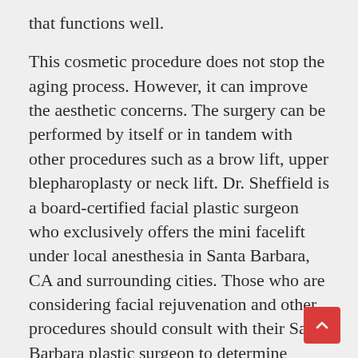that functions well.
This cosmetic procedure does not stop the aging process. However, it can improve the aesthetic concerns. The surgery can be performed by itself or in tandem with other procedures such as a brow lift, upper blepharoplasty or neck lift. Dr. Sheffield is a board-certified facial plastic surgeon who exclusively offers the mini facelift under local anesthesia in Santa Barbara, CA and surrounding cities. Those who are considering facial rejuvenation and other procedures should consult with their Santa Barbara plastic surgeon to determine which procedure is right for you. To find out if facial rejuvenation in Santa Barbara is right for you, contact Dr. Sheffield at (805) 318-3280 to discuss a customized treatment plan. See even more details at sbaesthetics.com.